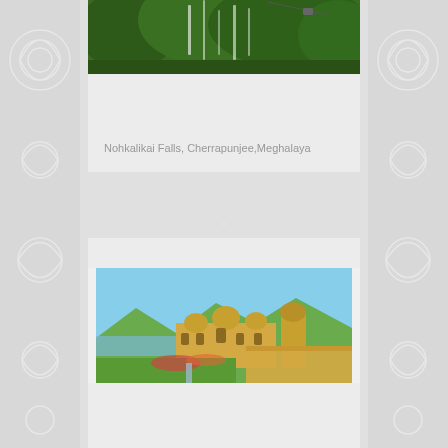[Figure (photo): Aerial or distant view of lush green forested hills with waterfalls, possibly a cable car visible, at Nohkalikai Falls, Cherrapunjee, Meghalaya]
Nohkalikai Falls, Cherrapunjee,Meghalaya
[Figure (photo): Aerial view of a grand Rajasthani palace or heritage hotel on the banks of a lake with blue sky, green hills in the background, Udaipur style architecture with domes and ornate towers]